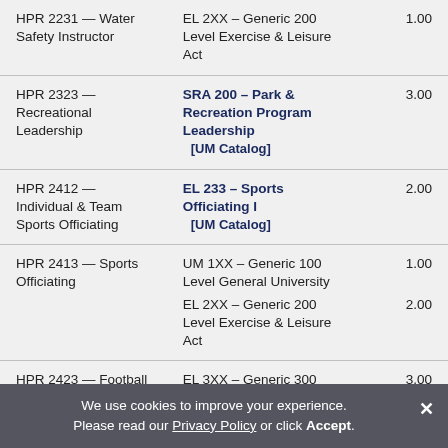| HPR Course | Transfer Equivalent | Credits |
| --- | --- | --- |
| HPR 2231 — Water Safety Instructor | EL 2XX – Generic 200 Level Exercise & Leisure Act | 1.00 |
| HPR 2323 — Recreational Leadership | SRA 200 – Park & Recreation Program Leadership [UM Catalog] | 3.00 |
| HPR 2412 — Individual & Team Sports Officiating | EL 233 – Sports Officiating I [UM Catalog] | 2.00 |
| HPR 2413 — Sports Officiating | UM 1XX – Generic 100 Level General University | EL 2XX – Generic 200 Level Exercise & Leisure Act | 1.00 | 2.00 |
| HPR 2423 — Football Theory | EL 3XX – Generic 300 Level Exercise & Leisure Act | 3.00 |
| HPR 2433 — Basketball Theory | UM 2XX – Generic 200 Level General University | 3.00 |
We use cookies to improve your experience. Please read our Privacy Policy or click Accept.